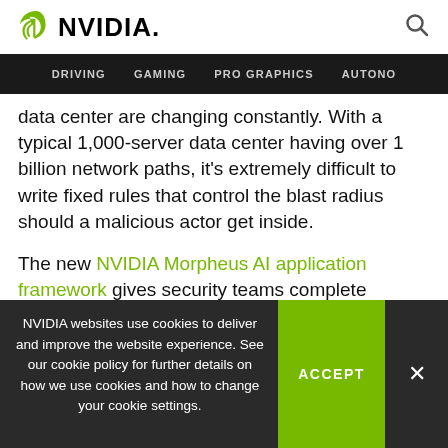NVIDIA
DRIVING GAMING PRO GRAPHICS AUTONO
data center are changing constantly. With a typical 1,000-server data center having over 1 billion network paths, it's extremely difficult to write fixed rules that control the blast radius should a malicious actor get inside.
The new NVIDIA Morpheus AI application framework gives security teams complete visibility into security threats by bringing together unmatched AI processing
NVIDIA websites use cookies to deliver and improve the website experience. See our cookie policy for further details on how we use cookies and how to change your cookie settings.
ACCEPT
×